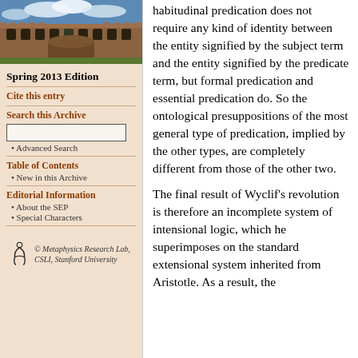[Figure (photo): Photograph of a historic stone university building with blue sky and clouds]
Spring 2013 Edition
Cite this entry
Search this Archive
Advanced Search
Table of Contents
New in this Archive
Editorial Information
About the SEP
Special Characters
[Figure (logo): Metaphysics Research Lab, CSLI, Stanford University logo with stylized figure]
habitudinal predication does not require any kind of identity between the entity signified by the subject term and the entity signified by the predicate term, but formal predication and essential predication do. So the ontological presuppositions of the most general type of predication, implied by the other types, are completely different from those of the other two.
The final result of Wyclif's revolution is therefore an incomplete system of intensional logic, which he superimposes on the standard extensional system inherited from Aristotle. As a result, the